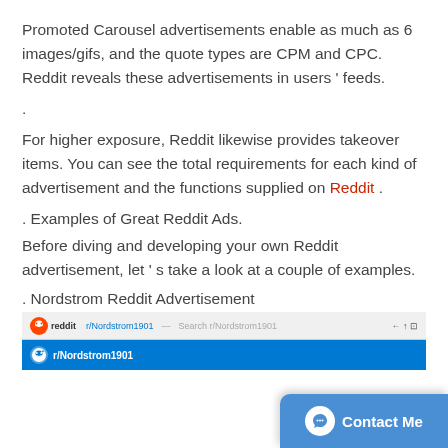Promoted Carousel advertisements enable as much as 6 images/gifs, and the quote types are CPM and CPC. Reddit reveals these advertisements in users ' feeds.
.
For higher exposure, Reddit likewise provides takeover items. You can see the total requirements for each kind of advertisement and the functions supplied on Reddit .
. Examples of Great Reddit Ads.
Before diving and developing your own Reddit advertisement, let ' s take a look at a couple of examples.
. Nordstrom Reddit Advertisement
[Figure (screenshot): Screenshot of a Reddit page showing r/Nordstrom1901 subreddit with browser bar and blue subreddit header]
[Figure (other): Contact Me button overlay in bottom right corner]